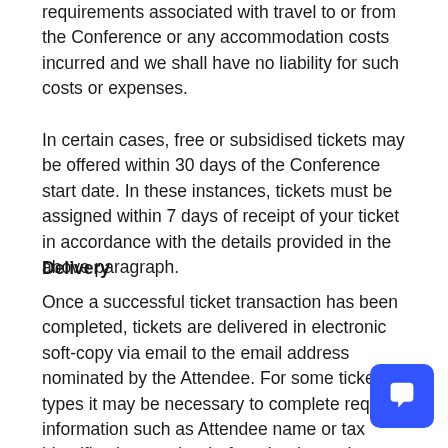requirements associated with travel to or from the Conference or any accommodation costs incurred and we shall have no liability for such costs or expenses.
In certain cases, free or subsidised tickets may be offered within 30 days of the Conference start date. In these instances, tickets must be assigned within 7 days of receipt of your ticket in accordance with the details provided in the above paragraph.
Delivery
Once a successful ticket transaction has been completed, tickets are delivered in electronic soft-copy via email to the email address nominated by the Attendee. For some ticket types it may be necessary to complete required information such as Attendee name or tax identification number before the ticket can be issued.